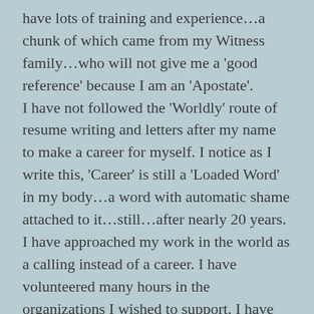have lots of training and experience...a chunk of which came from my Witness family...who will not give me a 'good reference' because I am an 'Apostate'. I have not followed the 'Worldly' route of resume writing and letters after my name to make a career for myself. I notice as I write this, 'Career' is still a 'Loaded Word' in my body...a word with automatic shame attached to it...still...after nearly 20 years. I have approached my work in the world as a calling instead of a career. I have volunteered many hours in the organizations I wished to support. I have become known in my communities by showing up and doing real work. I have developed a reputation which has spread by word of mouth.